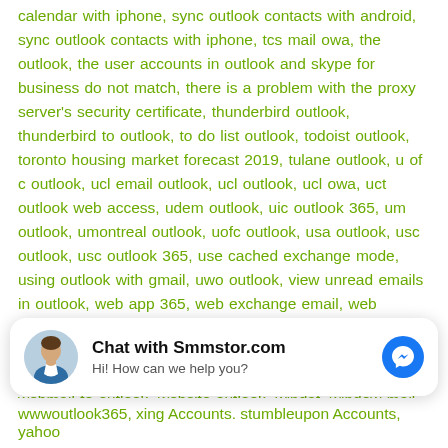calendar with iphone, sync outlook contacts with android, sync outlook contacts with iphone, tcs mail owa, the outlook, the user accounts in outlook and skype for business do not match, there is a problem with the proxy server's security certificate, thunderbird outlook, thunderbird to outlook, to do list outlook, todoist outlook, toronto housing market forecast 2019, tulane outlook, u of c outlook, ucl email outlook, ucl outlook, ucl owa, uct outlook web access, udem outlook, uic outlook 365, um outlook, umontreal outlook, uofc outlook, usa outlook, usc outlook, usc outlook 365, use cached exchange mode, using outlook with gmail, uwo outlook, view unread emails in outlook, web app 365, web exchange email, web hotmail, web mail office 365, web mail outlook, web outlook mail, web2mail outlook, webmail 365, webmail 365 online, webmail outlook 365, webmail outlook office, webmail to outlook, website outlook, windat, window mail, windows 360 mail, windows 365 mail, windows email, windows hotmail sign in, windows live hotmail outlook sign in, windows live hotmail sign in, windows mail windows 10, windows mail windows
[Figure (other): Chat widget for Smmstor.com with avatar of a man, title 'Chat with Smmstor.com', subtitle 'Hi! How can we help you?', and a Facebook Messenger icon button on the right.]
wwwoutlook365, xing Accounts, stumbleupon Accounts, yahoo